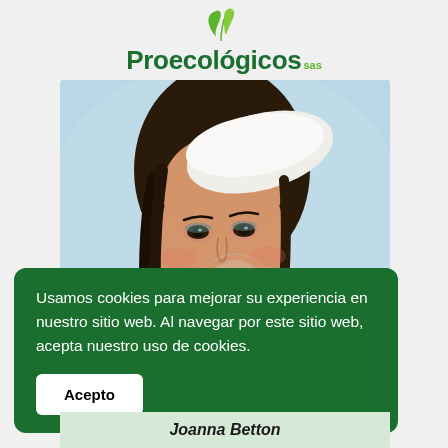[Figure (logo): Proecológicos SAS logo with two green leaves above the brand name]
[Figure (photo): Portrait of a young woman with dark hair wearing a white beret, light blue background, wearing cosmetic makeup]
Usamos cookies para mejorar su experiencia en nuestro sitio web. Al navegar por este sitio web, acepta nuestro uso de cookies.
Acepto
Joanna Betton